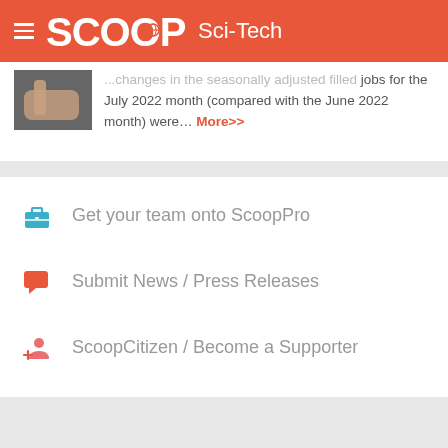SCOOP Sci-Tech
...changes in the seasonally adjusted filled jobs for the July 2022 month (compared with the June 2022 month) were... More>>
Get your team onto ScoopPro
Submit News / Press Releases
ScoopCitizen / Become a Supporter